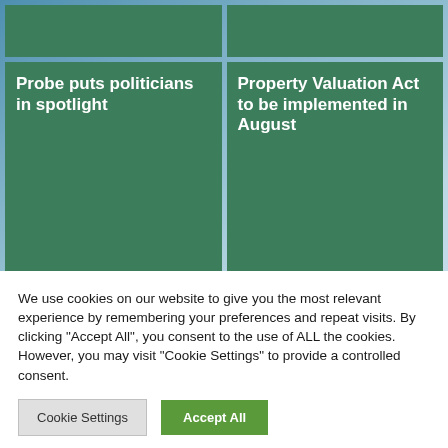Probe puts politicians in spotlight
Property Valuation Act to be implemented in August
Land claims lodgement bus to visit HCM
The Commission for Land Rights Restitution will be bringing its services closer to the people of Hibiscus Coast from 16 to 18
Read more
We use cookies on our website to give you the most relevant experience by remembering your preferences and repeat visits. By clicking “Accept All”, you consent to the use of ALL the cookies. However, you may visit "Cookie Settings" to provide a controlled consent.
Cookie Settings
Accept All